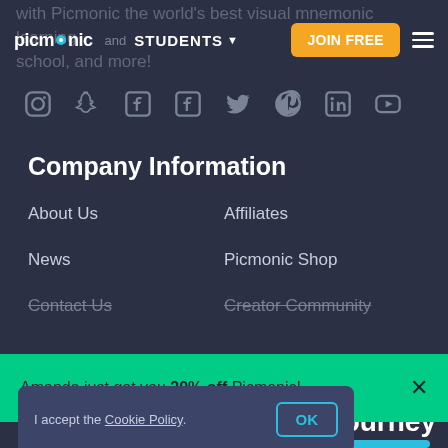with Picmonic the world's best visual mnemonic learning and STUDENTS JOIN FREE school, and more!
[Figure (screenshot): Social media icons row: Instagram, Snapchat, Facebook, Facebook (second), Twitter, Pinterest, LinkedIn, YouTube — all in muted gray on dark background]
Company Information
About Us
Affiliates
News
Picmonic Shop
Contact Us
Creator Community
Amanda just got you 20% off Picmonic!
I accept the Cookie Policy. OK
r journey